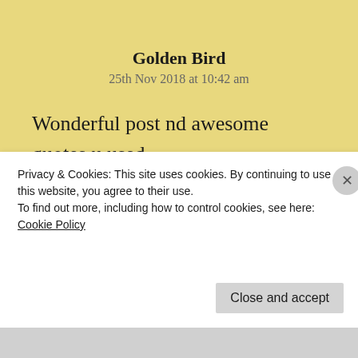Golden Bird
25th Nov 2018 at 10:42 am
Wonderful post nd awesome quotes u used
★ Liked by 3 people
↵ Reply
Privacy & Cookies: This site uses cookies. By continuing to use this website, you agree to their use.
To find out more, including how to control cookies, see here: Cookie Policy
Close and accept